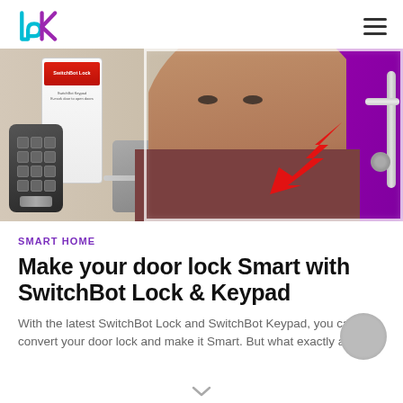PK logo and navigation
[Figure (photo): YouTube thumbnail-style image showing a man's face with a surprised expression, SwitchBot Lock and Keypad products on the left, a door handle on the right, purple/magenta background, and a large red arrow pointing toward the lock mechanism.]
SMART HOME
Make your door lock Smart with SwitchBot Lock & Keypad
With the latest SwitchBot Lock and SwitchBot Keypad, you can convert your door lock and make it Smart. But what exactly a…